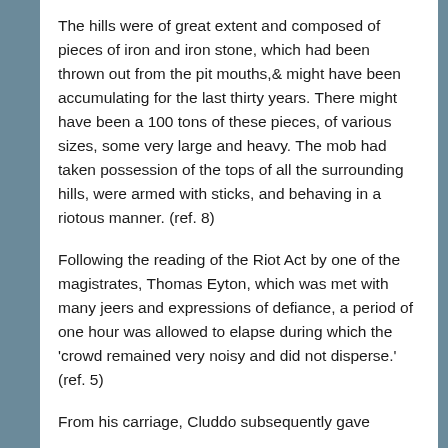The hills were of great extent and composed of pieces of iron and iron stone, which had been thrown out from the pit mouths,& might have been accumulating for the last thirty years. There might have been a 100 tons of these pieces, of various sizes, some very large and heavy. The mob had taken possession of the tops of all the surrounding hills, were armed with sticks, and behaving in a riotous manner. (ref. 8)
Following the reading of the Riot Act by one of the magistrates, Thomas Eyton, which was met with many jeers and expressions of defiance, a period of one hour was allowed to elapse during which the 'crowd remained very noisy and did not disperse.' (ref. 5)
From his carriage, Cluddo subsequently gave